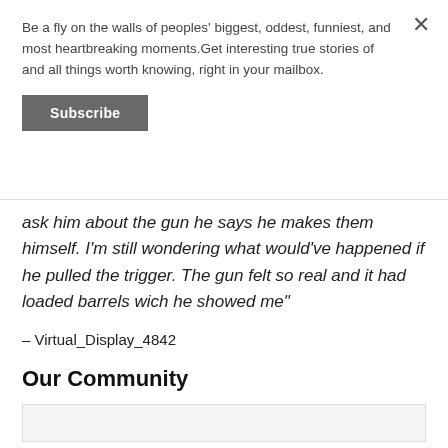Be a fly on the walls of peoples' biggest, oddest, funniest, and most heartbreaking moments.Get interesting true stories of and all things worth knowing, right in your mailbox.
Subscribe
ask him about the gun he says he makes them himself. I'm still wondering what would've happened if he pulled the trigger. The gun felt so real and it had loaded barrels wich he showed me"
– Virtual_Display_4842
Our Community